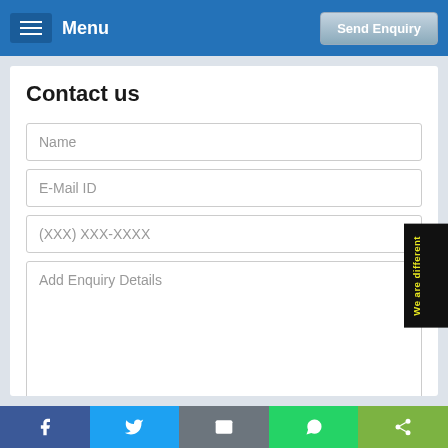Menu | Send Enquiry
Contact us
Name
E-Mail ID
(XXX) XXX-XXXX
Add Enquiry Details
SEND ENQUIRY
[Figure (screenshot): Side tab label reading 'We are different' rotated vertically]
Social share bar: Facebook, Twitter, Email, WhatsApp, Share